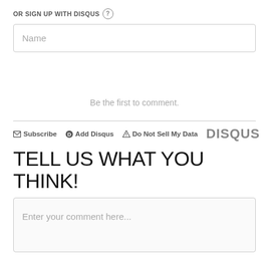OR SIGN UP WITH DISQUS ?
Name
Be the first to comment.
Subscribe  Add Disqus  Do Not Sell My Data  DISQUS
TELL US WHAT YOU THINK!
Enter your comment here...